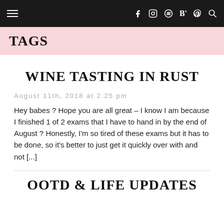≡  f  Instagram  Spotify  B'  Pinterest  Search
TAGS
WINE TASTING IN RUST
August 11th, 2018 at 2:25 pm
Hey babes ? Hope you are all great – I know I am because I finished 1 of 2 exams that I have to hand in by the end of August ? Honestly, I'm so tired of these exams but it has to be done, so it's better to just get it quickly over with and not [...]
OOTD & LIFE UPDATES